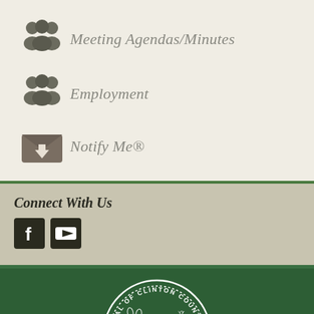Meeting Agendas/Minutes
Employment
Notify Me®
Connect With Us
[Figure (logo): Seal of Clinton County, St. Johns, Michigan — circular seal with deer, factory/industrial building, wheat, and stars on a dark green background]
[Figure (infographic): Facebook and YouTube social media icons in dark square buttons]